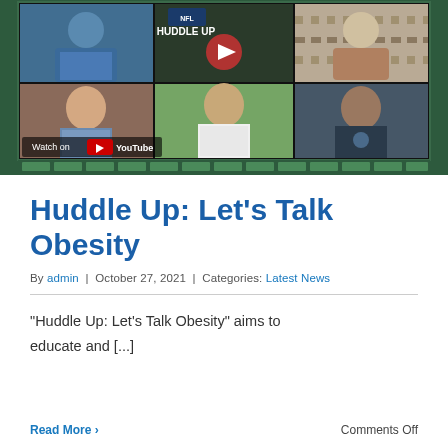[Figure (screenshot): YouTube video thumbnail for 'Huddle Up: Let's Talk Obesity' showing multiple men in a video call grid layout with a play button overlay and 'Watch on YouTube' label at the bottom left. Green film strip border at the bottom.]
Huddle Up: Let’s Talk Obesity
By admin | October 27, 2021 | Categories: Latest News
“Huddle Up: Let’s Talk Obesity” aims to educate and [...]
Read More ›
Comments Off